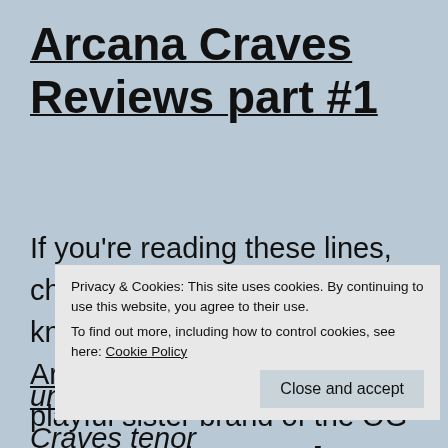Arcana Craves Reviews part #1
If you're reading these lines, chances are you already know about Arcana Wildcraft. Arcana Craves is a more playful sister brand of the OG Arcana. As they say, "[Arcana Craves] take[s] different versions of single notes and blend t... e... a... unusual territories (vanilla Craves tenor
Privacy & Cookies: This site uses cookies. By continuing to use this website, you agree to their use.
To find out more, including how to control cookies, see here: Cookie Policy
Close and accept